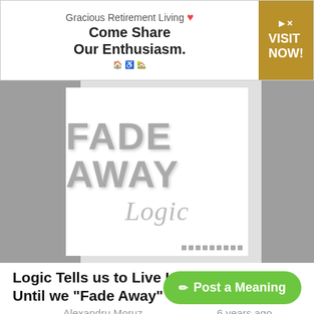[Figure (other): Advertisement banner for Gracious Retirement Living with text 'Come Share Our Enthusiasm.' and a 'VISIT NOW!' button in gold]
[Figure (illustration): Music single artwork showing 'FADE AWAY' in large bold gray letters and 'Logic' in cursive script below, with gray side bars flanking a white center panel]
Logic Tells us to Live Life to its Fullest Until we "Fade Away"
Alexandru Moruz    6 years ago